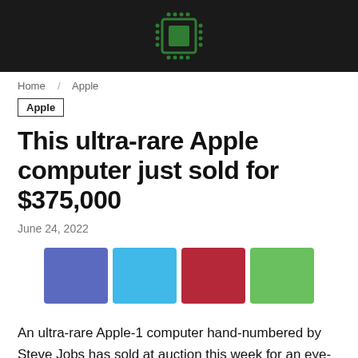[Figure (logo): Green microchip icon on dark background header bar]
Home / Apple
Apple
This ultra-rare Apple computer just sold for $375,000
June 24, 2022
[Figure (infographic): Four colored social share buttons: blue (Facebook), light blue (Twitter), red (Pinterest), green (Google+)]
An ultra-rare Apple-1 computer hand-numbered by Steve Jobs has sold at auction this week for an eye-watering $375,000.